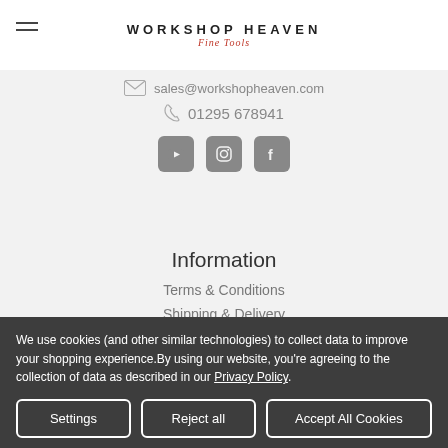WORKSHOP HEAVEN Fine Tools
sales@workshopheaven.com
01295 678941
[Figure (illustration): Social media icons: YouTube, Instagram, Facebook]
Information
Terms & Conditions
Shipping & Delivery
Refunds & Returns
We use cookies (and other similar technologies) to collect data to improve your shopping experience.By using our website, you're agreeing to the collection of data as described in our Privacy Policy.
Settings | Reject all | Accept All Cookies